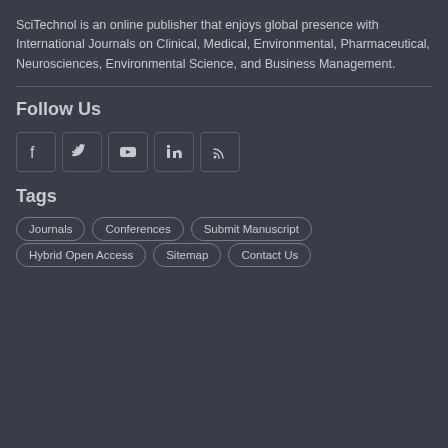SciTechnol is an online publisher that enjoys global presence with International Journals on Clinical, Medical, Environmental, Pharmaceutical, Neurosciences, Environmental Science, and Business Management.
Follow Us
[Figure (infographic): Five social media icon buttons: Facebook, Twitter, YouTube, LinkedIn, RSS feed]
Tags
Journals
Conferences
Submit Manuscript
Hybrid Open Access
Sitemap
Contact Us